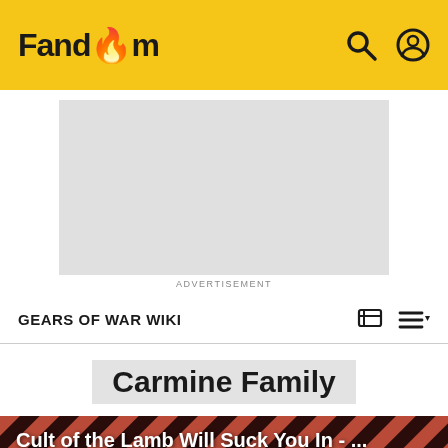Fandom
[Figure (other): Advertisement placeholder box, gray rectangle]
ADVERTISEMENT
GEARS OF WAR WIKI
Carmine Family
[Figure (illustration): Promotional banner for 'Cult of the Lamb Will Suck You In - ...' showing a lamb character with red glowing eyes on a diagonal stripe background]